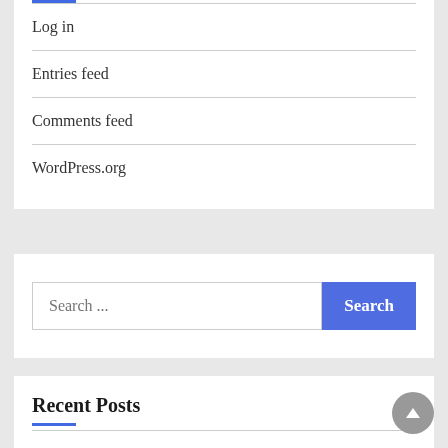Log in
Entries feed
Comments feed
WordPress.org
Search ...
Recent Posts
2021's Top Haircare & Skincare Formulations – HAPPI – happi.com